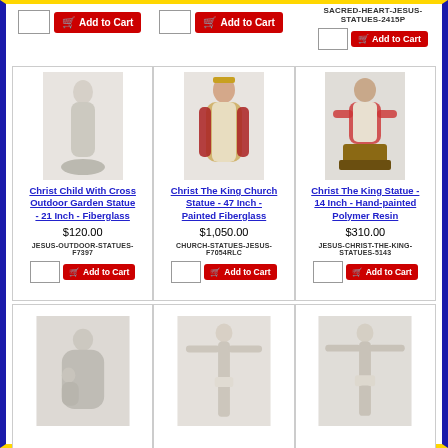SACRED-HEART-JESUS-STATUES-2415P
[Figure (other): Add to Cart buttons at top of page for previous products]
[Figure (photo): Christ Child With Cross Outdoor Garden Statue - 21 Inch - Fiberglass, white marble-look figurine of child Jesus]
Christ Child With Cross Outdoor Garden Statue - 21 Inch - Fiberglass
$120.00
JESUS-OUTDOOR-STATUES-F7397
[Figure (photo): Christ The King Church Statue - 47 Inch - Painted Fiberglass, colorful painted figure of Jesus in red and cream robes with crown]
Christ The King Church Statue - 47 Inch - Painted Fiberglass
$1,050.00
CHURCH-STATUES-JESUS-F7054RLC
[Figure (photo): Christ The King Statue - 14 Inch - Hand-painted Polymer Resin, seated Jesus in red and white robes]
Christ The King Statue - 14 Inch - Hand-painted Polymer Resin
$310.00
JESUS-CHRIST-THE-KING-STATUES-5143
[Figure (photo): Pietà style outdoor garden statue, white/marble look]
[Figure (photo): Corpus / crucifix figure without cross, white marble look - center]
[Figure (photo): Corpus / crucifix figure without cross, white marble look - right]